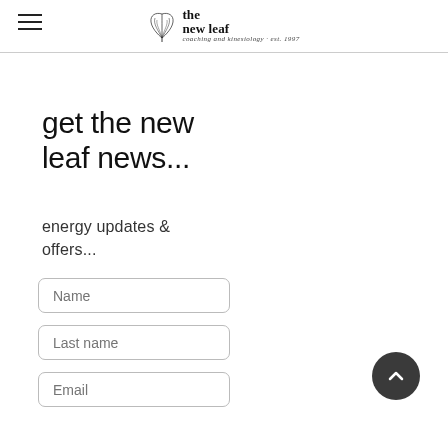the new leaf — coaching and kinesiology · est. 1997
get the new leaf news...
energy updates & offers...
Name
Last name
Email
[Figure (other): Scroll-to-top button: dark circular button with upward chevron arrow]